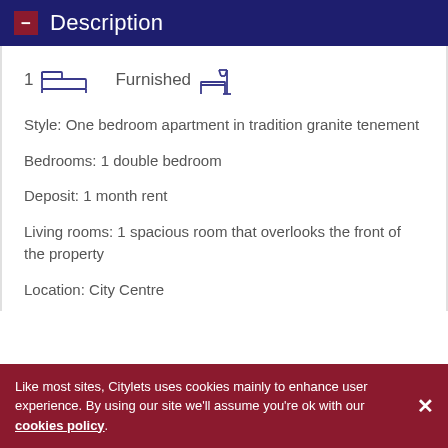Description
[Figure (illustration): Icons: 1 bed icon and Furnished icon with lamp/desk]
Style: One bedroom apartment in tradition granite tenement
Bedrooms: 1 double bedroom
Deposit: 1 month rent
Living rooms: 1 spacious room that overlooks the front of the property
Location: City Centre
Like most sites, Citylets uses cookies mainly to enhance user experience. By using our site we'll assume you're ok with our cookies policy.